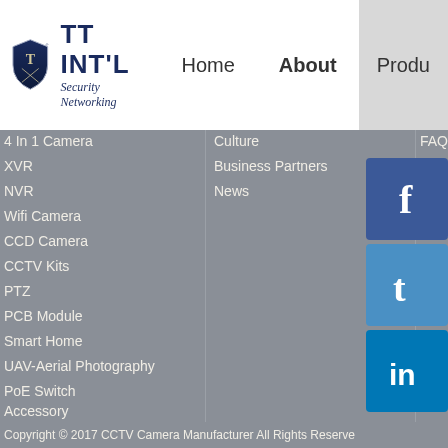[Figure (logo): TT INT'L Security Networking shield logo with navigation bar showing Home, About, Produ(cts) links]
4 In 1 Camera
XVR
NVR
Wifi Camera
CCD Camera
CCTV Kits
PTZ
PCB Module
Smart Home
UAV-Aerial Photography
PoE Switch
Accessory
USB Webcam
Culture
Business Partners
News
FAQ
Feedback
Download
IPC Dmeo
Copyright © 2017 CCTV Camera Manufacturer All Rights Reserve